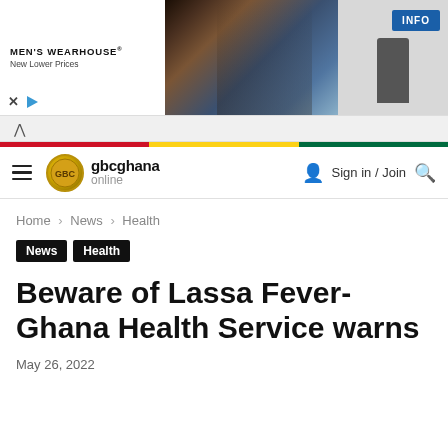[Figure (screenshot): Men's Wearhouse advertisement banner with a couple in formal wear and a man in a suit, with INFO button]
gbcghana online
Home > News > Health
News
Health
Beware of Lassa Fever- Ghana Health Service warns
May 26, 2022